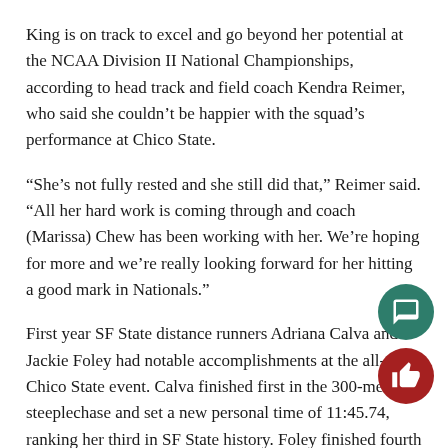King is on track to excel and go beyond her potential at the NCAA Division II National Championships, according to head track and field coach Kendra Reimer, who said she couldn't be happier with the squad's performance at Chico State.
“She’s not fully rested and she still did that,” Reimer said. “All her hard work is coming through and coach (Marissa) Chew has been working with her. We’re hoping for more and we’re really looking forward for her hitting a good mark in Nationals.”
First year SF State distance runners Adriana Calva and Jackie Foley had notable accomplishments at the all-day Chico State event. Calva finished first in the 300-meter steeplechase and set a new personal time of 11:45.74, ranking her third in SF State history. Foley finished fourth overall and is now ranked sixth in SF State history with a time of 12:12.56.
The Gators’ success this weekend will only evolve as the season continues to unfold and with the California Collegiate Athletic Association Championships right around the corner there will be more success to